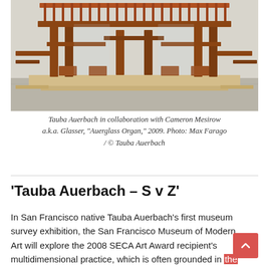[Figure (photo): A large wooden loom-like sculpture with reddish-brown wooden framework mounted on a pale wooden base platform, displayed in a gallery space with concrete floor and white walls. The structure appears symmetrical with mechanical components.]
Tauba Auerbach in collaboration with Cameron Mesirow a.k.a. Glasser, "Auerglass Organ," 2009. Photo: Max Farago / © Tauba Auerbach
'Tauba Auerbach – S v Z'
In San Francisco native Tauba Auerbach's first museum survey exhibition, the San Francisco Museum of Modern Art will explore the 2008 SECA Art Award recipient's multidimensional practice, which is often grounded in the artist's studies of math, physics and ideas of craft and construction. "S v Z" will include work from the past 17 years of Auerbach's career, focusing on matters of duality,